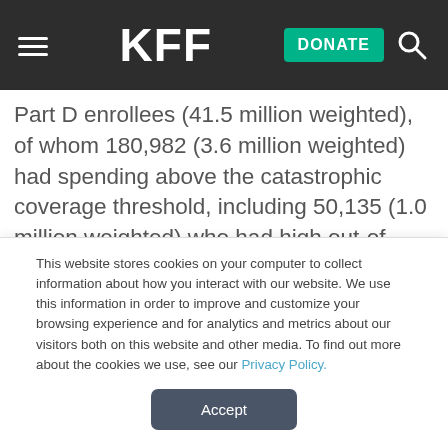KFF — DONATE
Part D enrollees (41.5 million weighted), of whom 180,982 (3.6 million weighted) had spending above the catastrophic coverage threshold, including 50,135 (1.0 million weighted) who had high out-of-pocket drug costs and did not receive the LIS. Our analysis of spending by chronic condition includes only those Part D enrollees in stand-alone PDPs because the CCW
This website stores cookies on your computer to collect information about how you interact with our website. We use this information in order to improve and customize your browsing experience and for analytics and metrics about our visitors both on this website and other media. To find out more about the cookies we use, see our Privacy Policy.
Accept